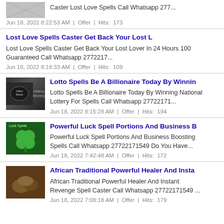Caster Lost Love Spells Call Whatsapp 277... | Jun 18, 2022 8:22:53 AM | Offer | Hits: 173
Lost Love Spells Caster Get Back Your Lost L | Lost Love Spells Caster Get Back Your Lost Lover In 24 Hours 100 Guaranteed Call Whatsapp 2772217... | Jun 18, 2022 8:18:33 AM | Offer | Hits: 109
Lotto Spells Be A Billionaire Today By Winnin | Lotto Spells Be A Billionaire Today By Winning National Lottery For Spells Call Whatsapp 27722171... | Jun 18, 2022 8:15:28 AM | Offer | Hits: 194
Powerful Luck Spell Portions And Business B | Powerful Luck Spell Portions And Business Boosting Spells Call Whatsapp 27722171549 Do You Have... | Jun 18, 2022 7:42:48 AM | Offer | Hits: 172
African Traditional Powerful Healer And Insta | African Traditional Powerful Healer And Instant Revenge Spell Caster Call Whatsapp 27722171549 ... | Jun 18, 2022 7:08:18 AM | Offer | Hits: 179